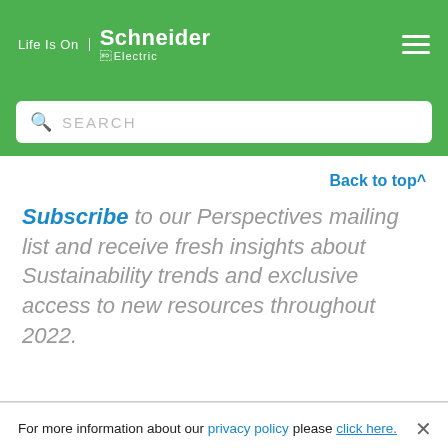Life Is On | Schneider Electric
SEARCH
Back to top^
Subscribe to our Perspectives mailing list and receive fresh insights about Sustainability trends and exclusive access to new resources throughout 2022.
For more information about our privacy policy please click here.
Accept All Cookies   Privacy Settings>